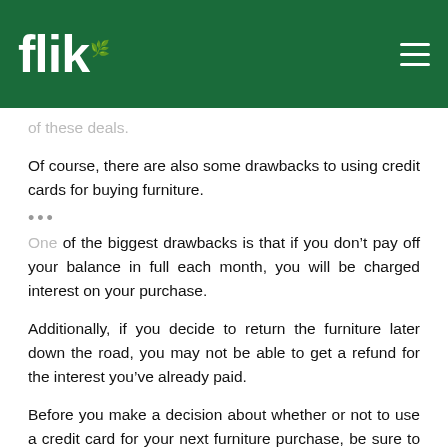flik
of these deals.
Of course, there are also some drawbacks to using credit cards for buying furniture.
...
One of the biggest drawbacks is that if you don't pay off your balance in full each month, you will be charged interest on your purchase.
Additionally, if you decide to return the furniture later down the road, you may not be able to get a refund for the interest you've already paid.
Before you make a decision about whether or not to use a credit card for your next furniture purchase, be sure to weigh the pros and cons. By doing so, you can make an informed decision that is best for your financial situation.